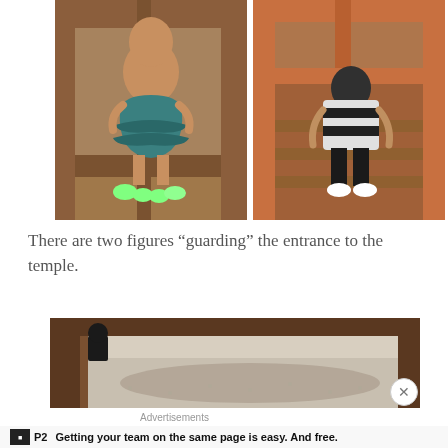[Figure (photo): Two side-by-side photos showing temple guardian figures seated behind a wooden lattice/cage structure. Left figure wears a teal/blue dress with glowing green toe decorations. Right figure wears a black and white striped outfit. Both are viewed through orange-red wooden beams and mesh wire.]
There are two figures “guarding” the entrance to the temple.
[Figure (photo): Partial photo showing the base/ground area of the temple entrance with wooden beams visible and sandy/gravel ground with shadows.]
Advertisements
Getting your team on the same page is easy. And free.